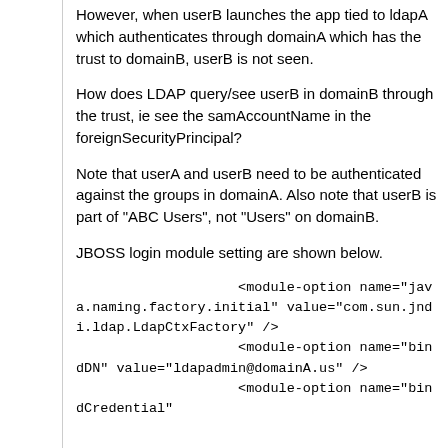However, when userB launches the app tied to ldapA which authenticates through domainA which has the trust to domainB, userB is not seen.
How does LDAP query/see userB in domainB through the trust, ie see the samAccountName in the foreignSecurityPrincipal?
Note that userA and userB need to be authenticated against the groups in domainA. Also note that userB is part of "ABC Users", not "Users" on domainB.
JBOSS login module setting are shown below.
<module-option name="java.naming.factory.initial" value="com.sun.jndi.ldap.LdapCtxFactory" />
                    <module-option name="bindDN" value="ldapadmin@domainA.us" />
                    <module-option name="bindCredential"